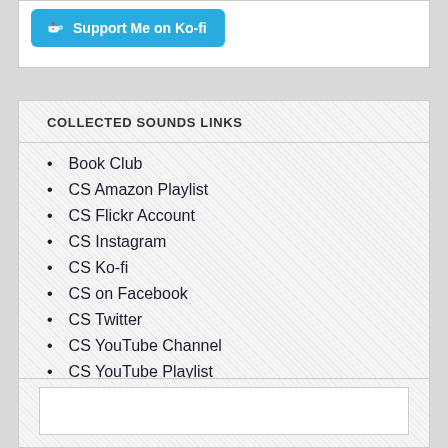[Figure (other): Ko-fi support button with coffee cup icon and text 'Support Me on Ko-fi' in light blue rounded rectangle]
COLLECTED SOUNDS LINKS
Book Club
CS Amazon Playlist
CS Flickr Account
CS Instagram
CS Ko-fi
CS on Facebook
CS Twitter
CS YouTube Channel
CS YouTube Playlist
Event Calendar